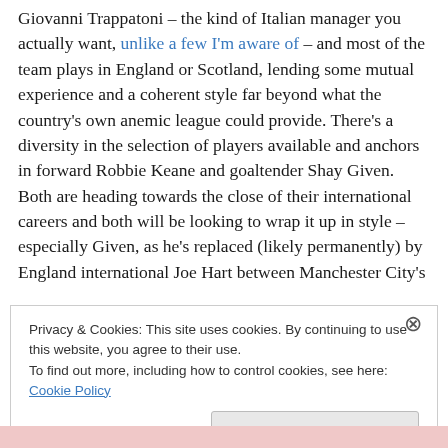Giovanni Trappatoni – the kind of Italian manager you actually want, unlike a few I'm aware of – and most of the team plays in England or Scotland, lending some mutual experience and a coherent style far beyond what the country's own anemic league could provide. There's a diversity in the selection of players available and anchors in forward Robbie Keane and goaltender Shay Given. Both are heading towards the close of their international careers and both will be looking to wrap it up in style – especially Given, as he's replaced (likely permanently) by England international Joe Hart between Manchester City's
Privacy & Cookies: This site uses cookies. By continuing to use this website, you agree to their use.
To find out more, including how to control cookies, see here: Cookie Policy